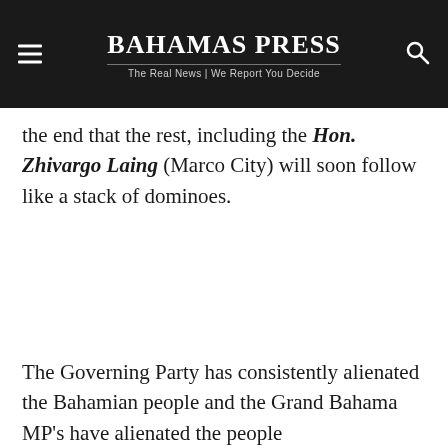Bahamas Press — The Real News | We Report You Decide
the end that the rest, including the Hon. Zhivargo Laing (Marco City) will soon follow like a stack of dominoes.
The Governing Party has consistently alienated the Bahamian people and the Grand Bahama MP's have alienated the people